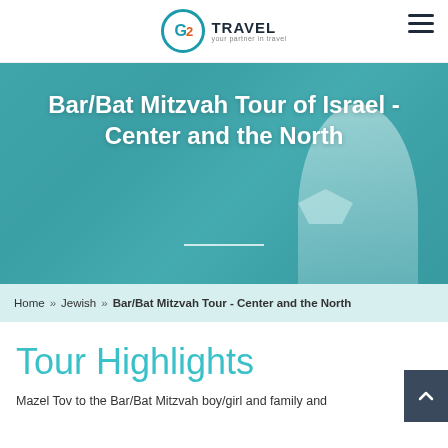G2 TRAVEL – your partner in travel
Bar/Bat Mitzvah Tour of Israel - Center and the North
Home » Jewish » Bar/Bat Mitzvah Tour - Center and the North
Tour Highlights
Mazel Tov to the Bar/Bat Mitzvah boy/girl and family and